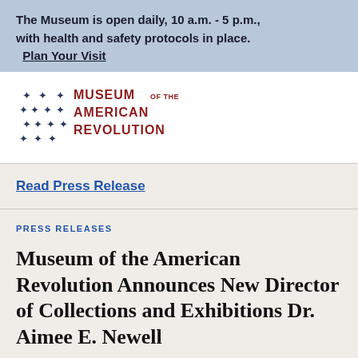The Museum is open daily, 10 a.m. - 5 p.m., with health and safety protocols in place. Plan Your Visit
[Figure (logo): Museum of the American Revolution logo with star pattern on the left and text 'MUSEUM OF THE AMERICAN REVOLUTION' on the right in dark red/maroon color]
Read Press Release
PRESS RELEASES
Museum of the American Revolution Announces New Director of Collections and Exhibitions Dr. Aimee E. Newell
Read Press Release